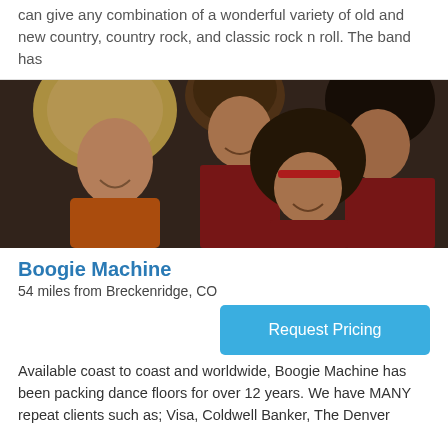can give any combination of a wonderful variety of old and new country, country rock, and classic rock n roll. The band has
[Figure (photo): Group photo of the Boogie Machine band members with large afro hairstyles in 1970s style clothing, smiling at the camera]
Boogie Machine
54 miles from Breckenridge, CO
Request Pricing
Available coast to coast and worldwide, Boogie Machine has been packing dance floors for over 12 years. We have MANY repeat clients such as; Visa, Coldwell Banker, The Denver